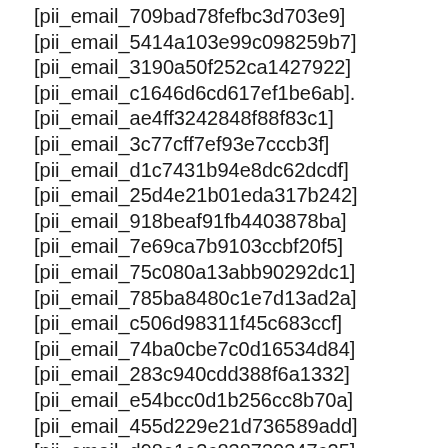[pii_email_709bad78fefbc3d703e9]
[pii_email_5414a103e99c098259b7]
[pii_email_3190a50f252ca1427922]
[pii_email_c1646d6cd617ef1be6ab].
[pii_email_ae4ff3242848f88f83c1]
[pii_email_3c77cff7ef93e7cccb3f]
[pii_email_d1c7431b94e8dc62dcdf]
[pii_email_25d4e21b01eda317b242]
[pii_email_918beaf91fb4403878ba]
[pii_email_7e69ca7b9103ccbf20f5]
[pii_email_75c080a13abb90292dc1]
[pii_email_785ba8480c1e7d13ad2a]
[pii_email_c506d98311f45c683ccf]
[pii_email_74ba0cbe7c0d16534d84]
[pii_email_283c940cdd388f6a1332]
[pii_email_e54bcc0d1b256cc8b70a]
[pii_email_455d229e21d736589add]
[pii_email_d98e1a2c838730347c25]
[pii_email_0e87db...]